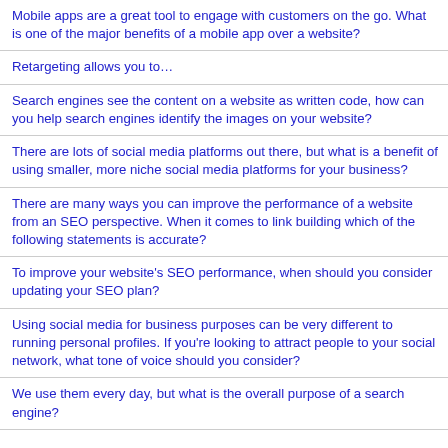Mobile apps are a great tool to engage with customers on the go. What is one of the major benefits of a mobile app over a website?
Retargeting allows you to…
Search engines see the content on a website as written code, how can you help search engines identify the images on your website?
There are lots of social media platforms out there, but what is a benefit of using smaller, more niche social media platforms for your business?
There are many ways you can improve the performance of a website from an SEO perspective. When it comes to link building which of the following statements is accurate?
To improve your website's SEO performance, when should you consider updating your SEO plan?
Using social media for business purposes can be very different to running personal profiles. If you're looking to attract people to your social network, what tone of voice should you consider?
We use them every day, but what is the overall purpose of a search engine?